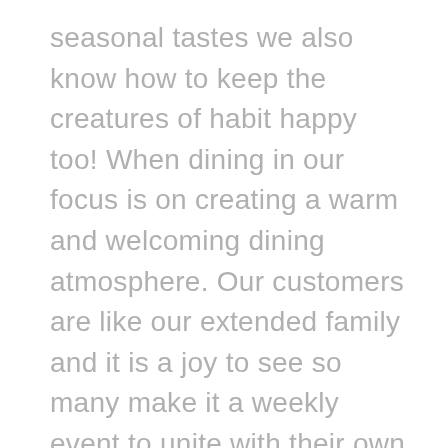seasonal tastes we also know how to keep the creatures of habit happy too! When dining in our focus is on creating a warm and welcoming dining atmosphere. Our customers are like our extended family and it is a joy to see so many make it a weekly event to unite with their own families as we dish out an exquisite array of flavours."